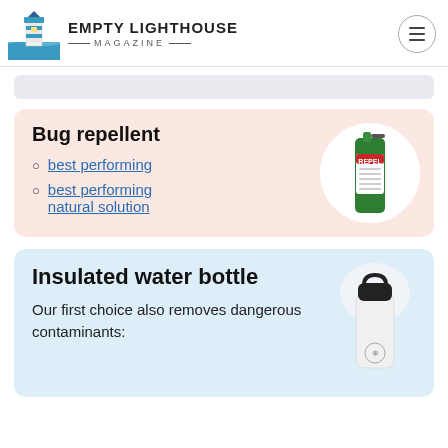EMPTY LIGHTHOUSE MAGAZINE
[Figure (illustration): Empty Lighthouse Magazine logo with lighthouse icon]
Bug repellent
best performing
best performing natural solution
[Figure (photo): Repel brand bug repellent spray bottle]
Insulated water bottle
Our first choice also removes dangerous contaminants:
[Figure (photo): White Hydro Flask insulated water bottle]